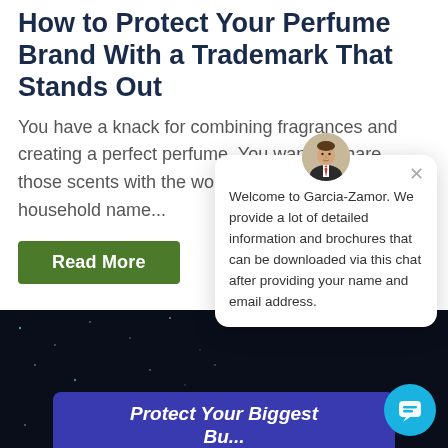How to Protect Your Perfume Brand With a Trademark That Stands Out
You have a knack for combining fragrances and creating a perfect perfume. You want to share those scents with the world and become a household name...
Read More
[Figure (screenshot): Chat popup with avatar photo of a man in suit, close button (x), and text: Welcome to Garcia-Zamor. We provide a lot of detailed information and brochures that can be downloaded via this chat after providing your name and email address.]
[Figure (screenshot): Dark starfield background section with blue chat bubble button and purple banner reading: Protect Your Biggest...]